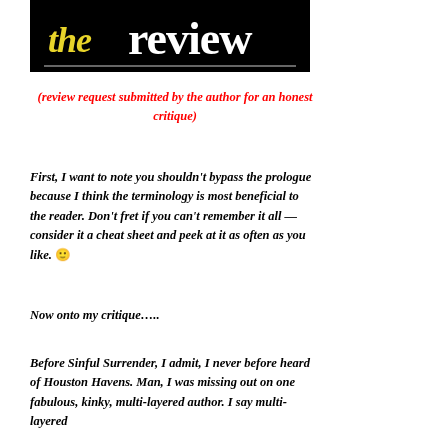[Figure (logo): Black background banner with 'the review' text — 'the' in yellow italic cursive, 'review' in large white serif letters]
(review request submitted by the author for an honest critique)
First, I want to note you shouldn't bypass the prologue because I think the terminology is most beneficial to the reader. Don't fret if you can't remember it all — consider it a cheat sheet and peek at it as often as you like. 🙂
Now onto my critique…..
Before Sinful Surrender, I admit, I never before heard of Houston Havens. Man, I was missing out on one fabulous, kinky, multi-layered author. I say multi-layered